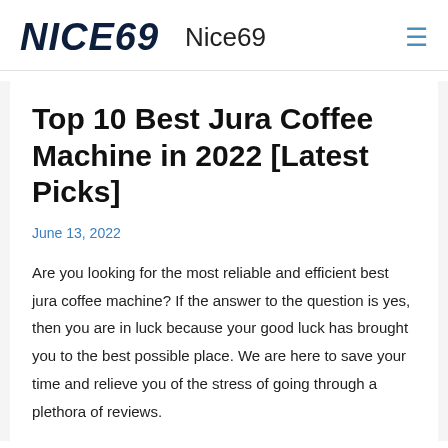NICE69  Nice69
Top 10 Best Jura Coffee Machine in 2022 [Latest Picks]
June 13, 2022
Are you looking for the most reliable and efficient best jura coffee machine? If the answer to the question is yes, then you are in luck because your good luck has brought you to the best possible place. We are here to save your time and relieve you of the stress of going through a plethora of reviews.